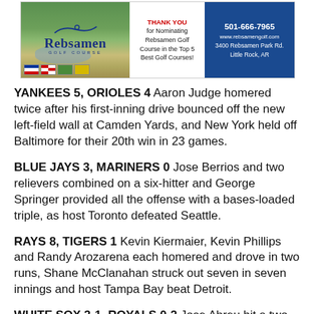[Figure (other): Rebsamen Golf Course advertisement banner with golf course photo, logo, thank you message, and contact information: 501-666-7965, www.rebsamengolf.com, 3400 Rebsamen Park Rd., Little Rock, AR]
YANKEES 5, ORIOLES 4 Aaron Judge homered twice after his first-inning drive bounced off the new left-field wall at Camden Yards, and New York held off Baltimore for their 20th win in 23 games.
BLUE JAYS 3, MARINERS 0 Jose Berrios and two relievers combined on a six-hitter and George Springer provided all the offense with a bases-loaded triple, as host Toronto defeated Seattle.
RAYS 8, TIGERS 1 Kevin Kiermaier, Kevin Phillips and Randy Arozarena each homered and drove in two runs, Shane McClanahan struck out seven in seven innings and host Tampa Bay beat Detroit.
WHITE SOX 3-1, ROYALS 0-2 Jose Abreu hit a two-run double in a three-run fifth inning, Dylan Cease pitched